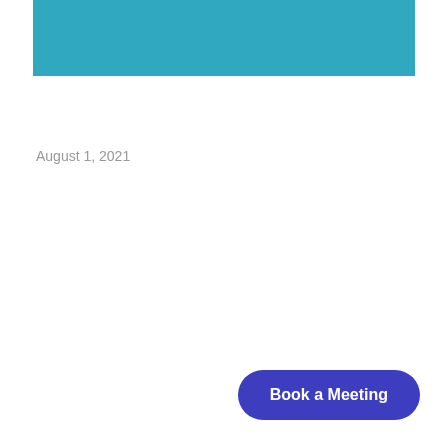[Figure (other): Teal/turquoise rectangular banner at the top of the page]
August 1, 2021
Book a Meeting